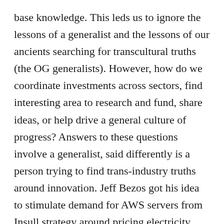base knowledge. This leds us to ignore the lessons of a generalist and the lessons of our ancients searching for transcultural truths (the OG generalists). However, how do we coordinate investments across sectors, find interesting area to research and fund, share ideas, or help drive a general culture of progress? Answers to these questions involve a generalist, said differently is a person trying to find trans-industry truths around innovation. Jeff Bezos got his idea to stimulate demand for AWS servers from Insull strategy around pricing electricity. The McDonald's brothers first store was not unlike a model-T assembly line for food. The Venture Capital industry based their financing model off how whaling trips in Japan were funded. Steve Job's design philosophy has inspired a host of fintech products whose selling points are nice UIs, simplicity, and speed. These trans-industry ideas or secrets about how the